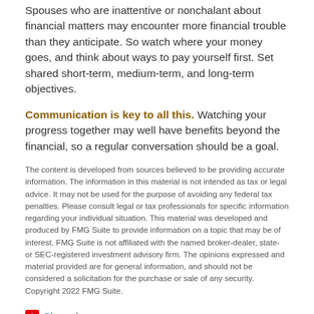Spouses who are inattentive or nonchalant about financial matters may encounter more financial trouble than they anticipate. So watch where your money goes, and think about ways to pay yourself first. Set shared short-term, medium-term, and long-term objectives.
Communication is key to all this. Watching your progress together may well have benefits beyond the financial, so a regular conversation should be a goal.
The content is developed from sources believed to be providing accurate information. The information in this material is not intended as tax or legal advice. It may not be used for the purpose of avoiding any federal tax penalties. Please consult legal or tax professionals for specific information regarding your individual situation. This material was developed and produced by FMG Suite to provide information on a topic that may be of interest. FMG Suite is not affiliated with the named broker-dealer, state- or SEC-registered investment advisory firm. The opinions expressed and material provided are for general information, and should not be considered a solicitation for the purchase or sale of any security. Copyright 2022 FMG Suite.
Share |